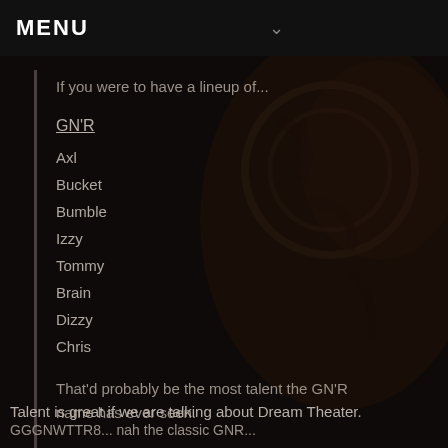MENU
If you were to have a lineup of...
GN'R
Axl
Bucket
Bumble
Izzy
Tommy
Brain
Dizzy
Chris
That'd probably be the most talent the GN'R name has ever seen.
Talent is great if we are talking about Dream Theater.
GGGNWTTR8... nah the classic GNR...